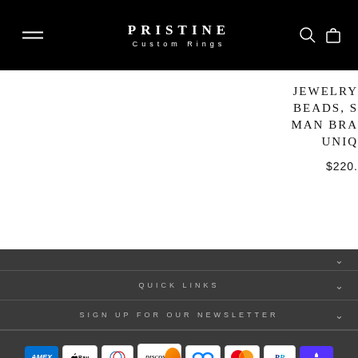PRISTINE Custom Rings
JEWELRY BEADS, S MAN BRA UNIQ $220.
QUICK LINKS
SIGN UP FOR OUR NEWSLETTER
[Figure (other): Payment method icons: Amex, Apple Pay, Diners Club, Discover, Meta Pay, Mastercard, PayPal, Shop Pay, Venmo, Visa]